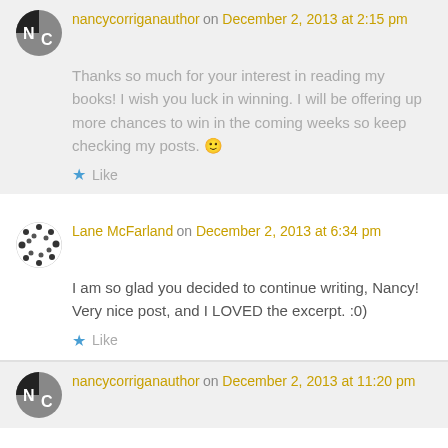nancycorriganauthor on December 2, 2013 at 2:15 pm
Thanks so much for your interest in reading my books! I wish you luck in winning. I will be offering up more chances to win in the coming weeks so keep checking my posts. 🙂
Like
Lane McFarland on December 2, 2013 at 6:34 pm
I am so glad you decided to continue writing, Nancy! Very nice post, and I LOVED the excerpt. :0)
Like
nancycorriganauthor on December 2, 2013 at 11:20 pm